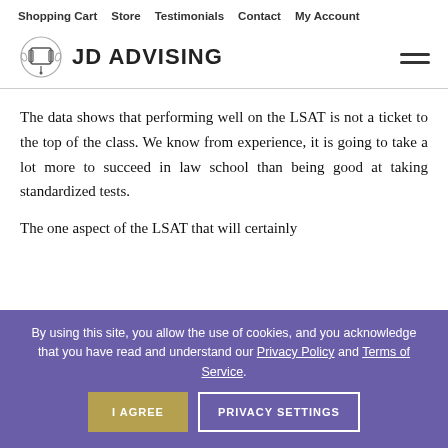Shopping Cart  Store  Testimonials  Contact  My Account
[Figure (logo): JD Advising logo with diploma/scroll icon and text 'JD ADVISING']
The data shows that performing well on the LSAT is not a ticket to the top of the class. We know from experience, it is going to take a lot more to succeed in law school than being good at taking standardized tests.
The one aspect of the LSAT that will certainly
By using this site, you allow the use of cookies, and you acknowledge that you have read and understand our Privacy Policy and Terms of Service.
I AGREE   PRIVACY SETTINGS